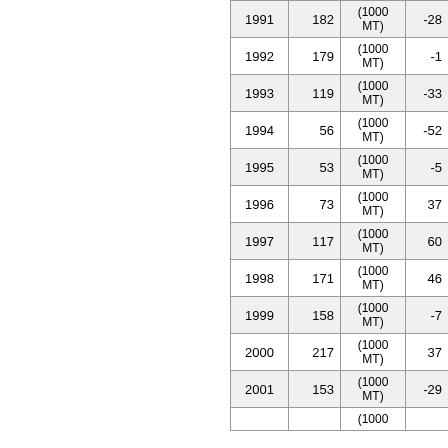| Year | Value1 | Unit | Value2 |
| --- | --- | --- | --- |
| 1991 | 182 | (1000 MT) | -28 |
| 1992 | 179 | (1000 MT) | -1 |
| 1993 | 119 | (1000 MT) | -33 |
| 1994 | 56 | (1000 MT) | -52 |
| 1995 | 53 | (1000 MT) | -5 |
| 1996 | 73 | (1000 MT) | 37 |
| 1997 | 117 | (1000 MT) | 60 |
| 1998 | 171 | (1000 MT) | 46 |
| 1999 | 158 | (1000 MT) | -7 |
| 2000 | 217 | (1000 MT) | 37 |
| 2001 | 153 | (1000 MT) | -29 |
| 2002 |  | (1000 |  |